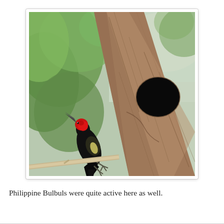[Figure (photo): A woodpecker with a bright red head patch and black plumage clings to the side of a large dead tree trunk near a dark cavity/hole in the wood. Green blurred foliage visible in the background. The bird has a sharp beak pointed upward toward the hole.]
Philippine Bulbuls were quite active here as well.